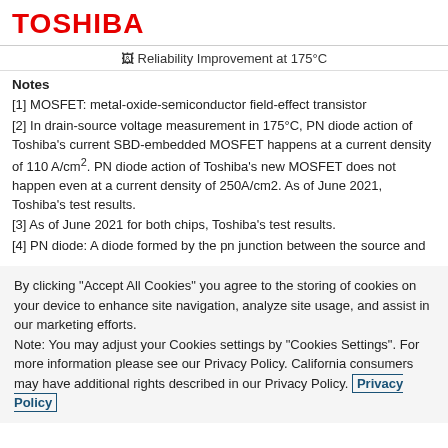TOSHIBA
Reliability Improvement at 175°C
Notes
[1] MOSFET: metal-oxide-semiconductor field-effect transistor
[2] In drain-source voltage measurement in 175°C, PN diode action of Toshiba's current SBD-embedded MOSFET happens at a current density of 110 A/cm². PN diode action of Toshiba's new MOSFET does not happen even at a current density of 250A/cm2. As of June 2021, Toshiba's test results.
[3] As of June 2021 for both chips, Toshiba's test results.
[4] PN diode: A diode formed by the pn junction between the source and
By clicking "Accept All Cookies" you agree to the storing of cookies on your device to enhance site navigation, analyze site usage, and assist in our marketing efforts.
Note: You may adjust your Cookies settings by "Cookies Settings". For more information please see our Privacy Policy. California consumers may have additional rights described in our Privacy Policy. Privacy Policy